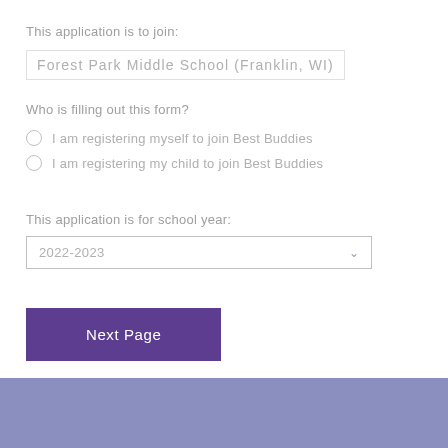This application is to join:
Forest Park Middle School (Franklin, WI)
Who is filling out this form?
I am registering myself to join Best Buddies
I am registering my child to join Best Buddies
This application is for school year:
2022-2023
Next Page